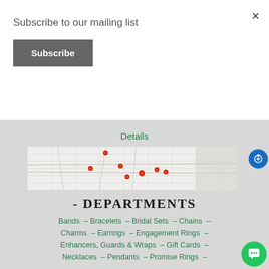Subscribe to our mailing list
Subscribe
×
Details
[Figure (map): Horizontal strip map showing geographic region with red location pin markers scattered across it]
- DEPARTMENTS
Bands – Bracelets – Bridal Sets – Chains –
Charms – Earrings – Engagement Rings –
Enhancers, Guards & Wraps – Gift Cards –
Necklaces – Pendants – Promise Rings –